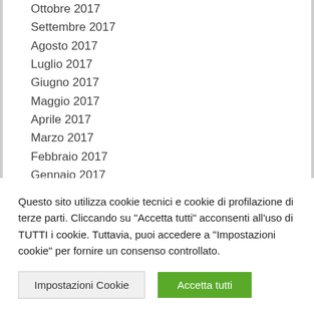Ottobre 2017
Settembre 2017
Agosto 2017
Luglio 2017
Giugno 2017
Maggio 2017
Aprile 2017
Marzo 2017
Febbraio 2017
Gennaio 2017
Dicembre 2016
Novembre 2016
Questo sito utilizza cookie tecnici e cookie di profilazione di terze parti. Cliccando su "Accetta tutti" acconsenti all'uso di TUTTI i cookie. Tuttavia, puoi accedere a "Impostazioni cookie" per fornire un consenso controllato.
Impostazioni Cookie | Accetta tutti